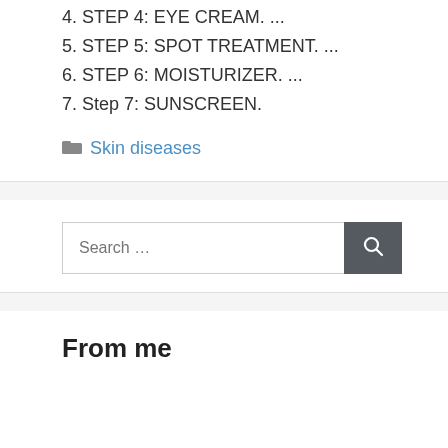4. STEP 4: EYE CREAM. ...
5. STEP 5: SPOT TREATMENT. ...
6. STEP 6: MOISTURIZER. ...
7. Step 7: SUNSCREEN.
Skin diseases
Search ...
From me